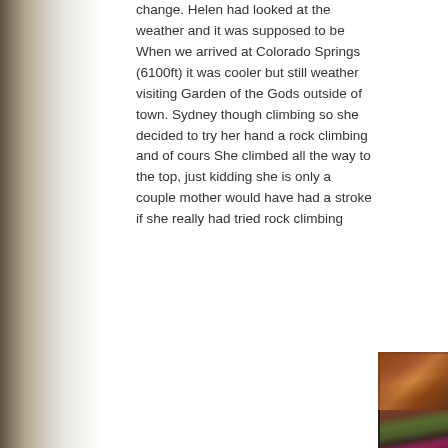change. Helen had looked at the weather and it was supposed to be When we arrived at Colorado Springs (6100ft) it was cooler but still weather visiting Garden of the Gods outside of town. Sydney though climbing so she decided to try her hand a rock climbing and of cours She climbed all the way to the top, just kidding she is only a couple mother would have had a stroke if she really had tried rock climbing
[Figure (photo): Partial photo visible at bottom right of page showing red rock formations (Garden of the Gods, Colorado Springs) with orange-red sandstone cliffs and green vegetation, and a reddish-purple ground area at the bottom.]